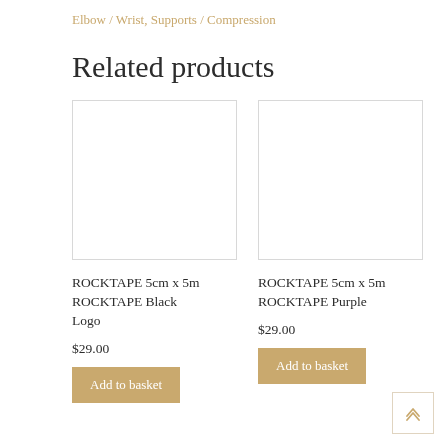Elbow / Wrist, Supports / Compression
Related products
[Figure (photo): Empty white product image placeholder with light border — ROCKTAPE 5cm x 5m ROCKTAPE Black Logo]
ROCKTAPE 5cm x 5m ROCKTAPE Black Logo
$29.00
Add to basket
[Figure (photo): Empty white product image placeholder with light border — ROCKTAPE 5cm x 5m ROCKTAPE Purple]
ROCKTAPE 5cm x 5m ROCKTAPE Purple
$29.00
Add to basket